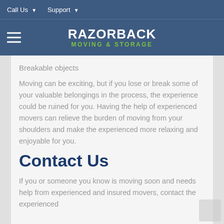Call Us   Support
[Figure (logo): Razorback Moving & Storage logo with hamburger menu icon on a dark blue background]
Breakable objects
Moving can be exciting, but if you lose or break some of your valuable belongings in the process, the experience could be ruined for you. Having the help of experienced movers can relieve the burden of moving from your shoulders and make the experienced more relaxing and enjoyable for you.
Contact Us
If you or someone you know is moving soon and needs help from experienced and insured movers, contact the experienced